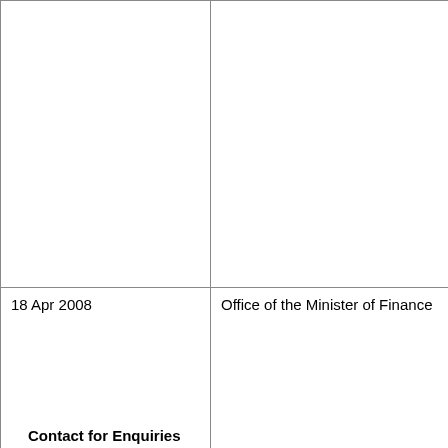| Date | Party | Description |
| --- | --- | --- |
|  |  | Released 1 |
| 18 Apr 2008 | Office of the Minister of Finance | Email: Mee
Released 1 |
| 9 Sep 2008 | Russell McVeagh | Note: Proce
Released 1 |
Contact for Enquiries